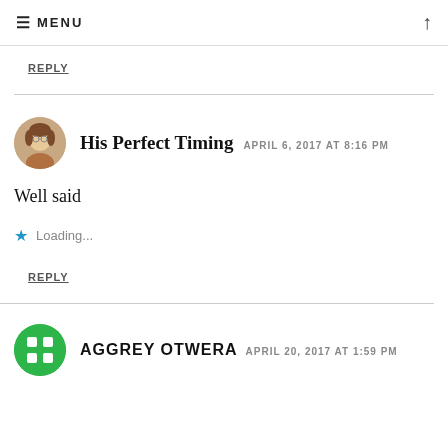≡ MENU
REPLY
His Perfect Timing   APRIL 6, 2017 AT 8:16 PM
Well said
Loading...
REPLY
AGGREY OTWERA   APRIL 20, 2017 AT 1:59 PM